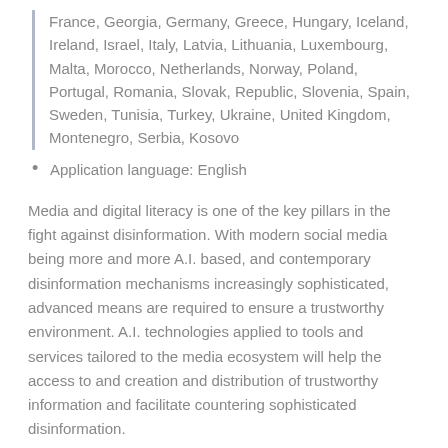France, Georgia, Germany, Greece, Hungary, Iceland, Ireland, Israel, Italy, Latvia, Lithuania, Luxembourg, Malta, Morocco, Netherlands, Norway, Poland, Portugal, Romania, Slovak, Republic, Slovenia, Spain, Sweden, Tunisia, Turkey, Ukraine, United Kingdom, Montenegro, Serbia, Kosovo
Application language: English
Media and digital literacy is one of the key pillars in the fight against disinformation. With modern social media being more and more A.I. based, and contemporary disinformation mechanisms increasingly sophisticated, advanced means are required to ensure a trustworthy environment. A.I. technologies applied to tools and services tailored to the media ecosystem will help the access to and creation and distribution of trustworthy information and facilitate countering sophisticated disinformation.
The Media Action Plan is developed around three areas